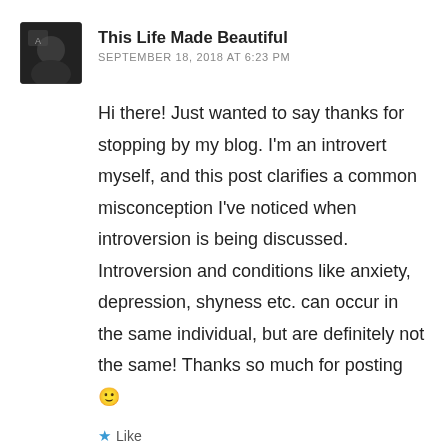[Figure (photo): Small circular/rounded square avatar photo showing a dark image, likely a person's profile picture for 'This Life Made Beautiful']
This Life Made Beautiful
SEPTEMBER 18, 2018 AT 6:23 PM
Hi there! Just wanted to say thanks for stopping by my blog. I'm an introvert myself, and this post clarifies a common misconception I've noticed when introversion is being discussed. Introversion and conditions like anxiety, depression, shyness etc. can occur in the same individual, but are definitely not the same! Thanks so much for posting 🙂
★ Like